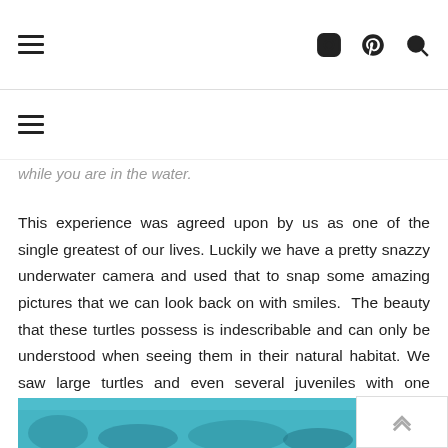[hamburger menu icon] [Instagram icon] [Pinterest icon] [Search icon]
while you are in the water.
This experience was agreed upon by us as one of the single greatest of our lives. Luckily we have a pretty snazzy underwater camera and used that to snap some amazing pictures that we can look back on with smiles.  The beauty that these turtles possess is indescribable and can only be understood when seeing them in their natural habitat. We saw large turtles and even several juveniles with one swimming right under us and surfacing only mere feet away. If you're ever in the area don't even think about missing this!
[Figure (photo): Underwater photo showing teal/turquoise water with coral or marine life visible]